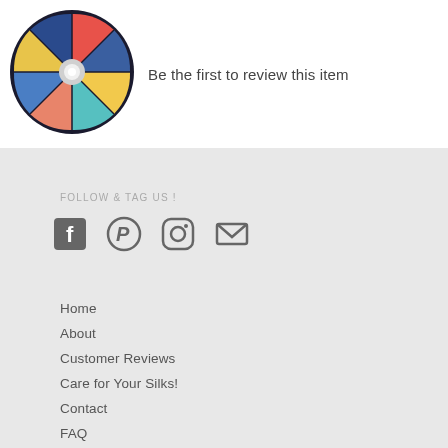[Figure (logo): Colorful spinning wheel / prize wheel logo with multiple colored segments (red, blue, yellow, teal, pink) and a white center hub, in a dark circular border]
Be the first to review this item
FOLLOW & TAG US !
[Figure (other): Social media icons: Facebook, Pinterest, Instagram, Email]
Home
About
Customer Reviews
Care for Your Silks!
Contact
FAQ
Return Policy
Shipping Information